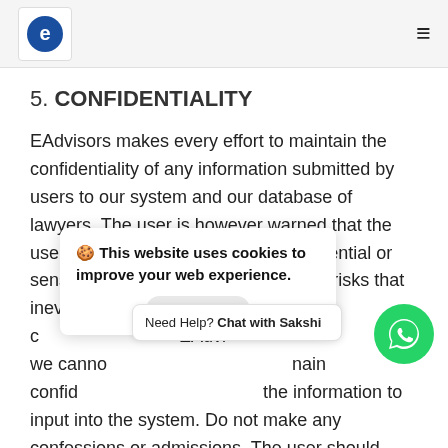EAdvisors logo and navigation
5. CONFIDENTIALITY
EAdvisors makes every effort to maintain the confidentiality of any information submitted by users to our system and our database of lawyers. The user is however warned that the use of the internet or e-mail for confidential or sensitive information is suscentible to risks that inevitably arise c EAdvisors, we canno nain confid the information to input into the system. Do not make any confessions or admissions. The user should
🍪 This website uses cookies to improve your web experience.
Need Help? Chat with Sakshi